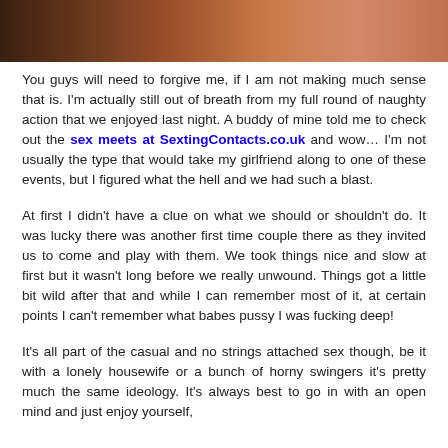[Figure (photo): Cropped photo strip showing a close-up of skin tones, appearing to be a person's body, in warm brown and orange hues.]
You guys will need to forgive me, if I am not making much sense that is. I'm actually still out of breath from my full round of naughty action that we enjoyed last night. A buddy of mine told me to check out the sex meets at SextingContacts.co.uk and wow… I'm not usually the type that would take my girlfriend along to one of these events, but I figured what the hell and we had such a blast.
At first I didn't have a clue on what we should or shouldn't do. It was lucky there was another first time couple there as they invited us to come and play with them. We took things nice and slow at first but it wasn't long before we really unwound. Things got a little bit wild after that and while I can remember most of it, at certain points I can't remember what babes pussy I was fucking deep!
It's all part of the casual and no strings attached sex though, be it with a lonely housewife or a bunch of horny swingers it's pretty much the same ideology. It's always best to go in with an open mind and just enjoy yourself,